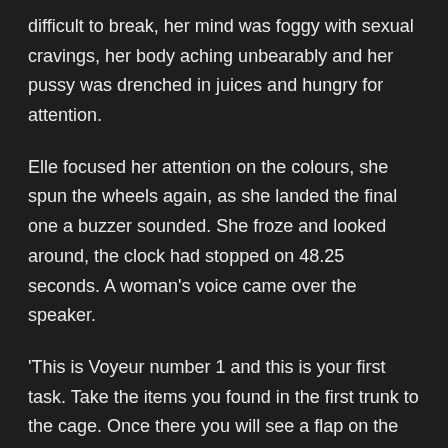difficult to break, her mind was foggy with sexual cravings, her body aching unbearably and her pussy was drenched in juices and hungry for attention.
Elle focused her attention on the colours, she spun the wheels again, as she landed the final one a buzzer sounded. She froze and looked around, the clock had stopped on 48.25 seconds. A woman's voice came over the speaker.
'This is Voyeur number 1 and this is your first task. Take the items you found in the first trunk to the cage. Once there you will see a flap on the floor, lift it, and plug in the vibrating wand. Slot the wand into the cradle attached to the cage bars. Lubricate the head of the wand. Back against the cage and position your pussy over the wand, find and fasten the leather strap around your waist, then place your wrists and ankles into the